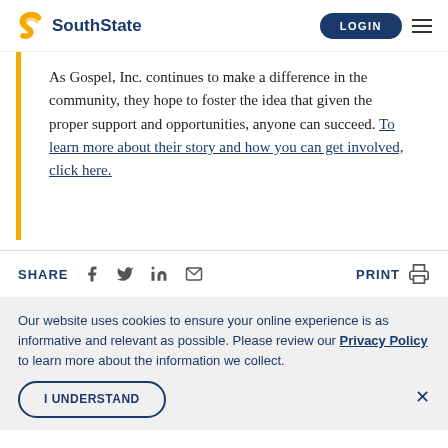SouthState | LOGIN
As Gospel, Inc. continues to make a difference in the community, they hope to foster the idea that given the proper support and opportunities, anyone can succeed. To learn more about their story and how you can get involved, click here.
SHARE  PRINT
Our website uses cookies to ensure your online experience is as informative and relevant as possible. Please review our Privacy Policy to learn more about the information we collect.
I UNDERSTAND